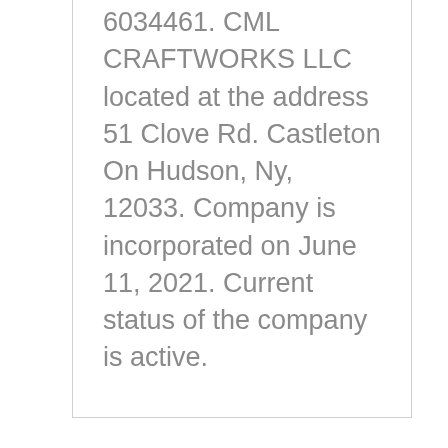6034461. CML CRAFTWORKS LLC located at the address 51 Clove Rd. Castleton On Hudson, Ny, 12033. Company is incorporated on June 11, 2021. Current status of the company is active.